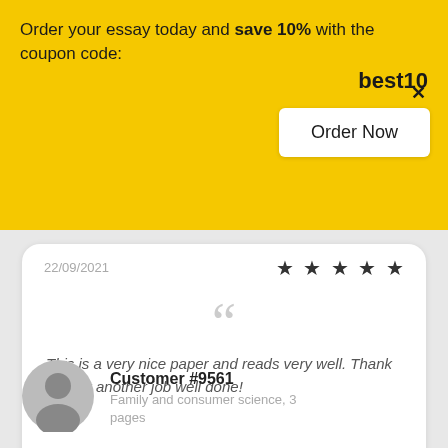Order your essay today and save 10% with the coupon code: best10
Order Now
22/09/2021 ★★★★★
This is a very nice paper and reads very well. Thank you for another job well done!
Customer #9561
Family and consumer science, 3 pages